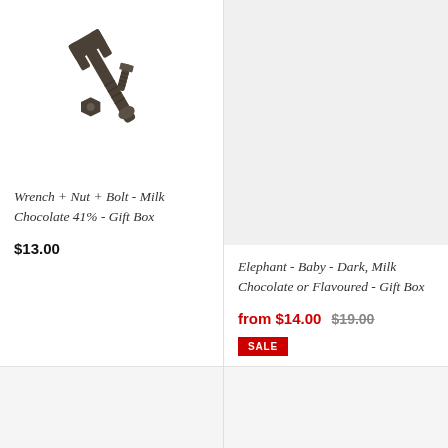[Figure (photo): Photo of a chocolate wrench, nut, and bolt on white background]
Wrench + Nut + Bolt - Milk Chocolate 41% - Gift Box
$13.00
[Figure (photo): Light gray placeholder image for elephant chocolate gift box]
Elephant - Baby - Dark, Milk Chocolate or Flavoured - Gift Box
from $14.00  $19.00
SALE
[Figure (photo): Light gray placeholder image bottom left]
[Figure (photo): Light gray placeholder image bottom right]